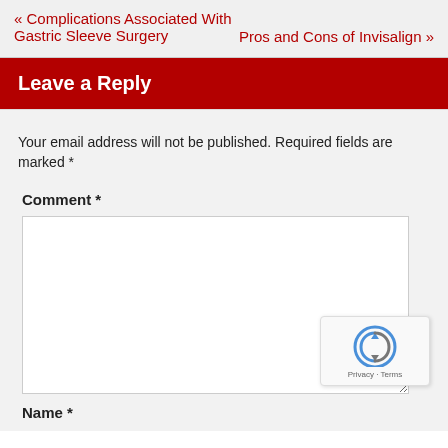« Complications Associated With Gastric Sleeve Surgery
Pros and Cons of Invisalign »
Leave a Reply
Your email address will not be published. Required fields are marked *
Comment *
Name *